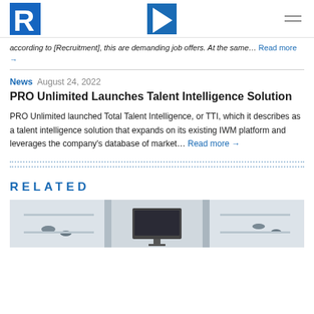R logo and navigation menu
according to [Recruitment], this are demanding job offers. At the same... Read more →
News  August 24, 2022
PRO Unlimited Launches Talent Intelligence Solution
PRO Unlimited launched Total Talent Intelligence, or TTI, which it describes as a talent intelligence solution that expands on its existing IWM platform and leverages the company's database of market... Read more →
RELATED
[Figure (photo): Office interior with modern white furniture and a monitor/screen visible in the center]